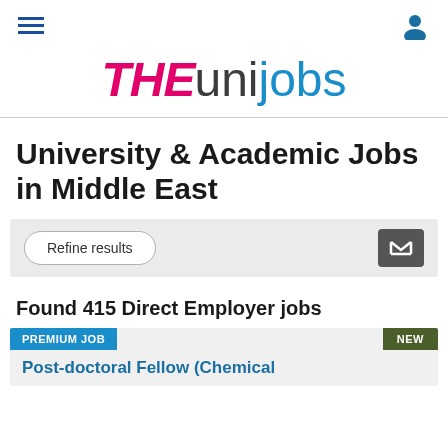[Figure (logo): THEunijobs logo with THE in bold italic pink/magenta, uni in dark gray, jobs in blue]
University & Academic Jobs in Middle East
Refine results
Found 415 Direct Employer jobs
PREMIUM JOB
NEW
Post-doctoral Fellow (Chemical